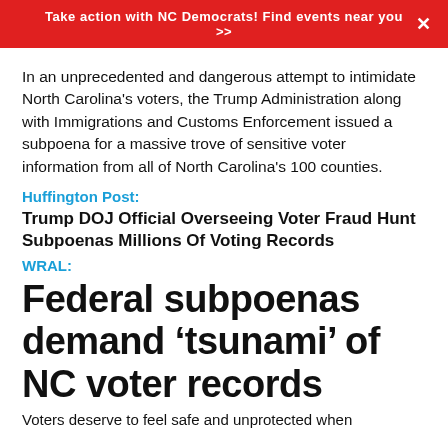Take action with NC Democrats! Find events near you >>
In an unprecedented and dangerous attempt to intimidate North Carolina's voters, the Trump Administration along with Immigrations and Customs Enforcement issued a subpoena for a massive trove of sensitive voter information from all of North Carolina's 100 counties.
Huffington Post:
Trump DOJ Official Overseeing Voter Fraud Hunt Subpoenas Millions Of Voting Records
WRAL:
Federal subpoenas demand ‘tsunami’ of NC voter records
Voters deserve to feel safe and unprotected when